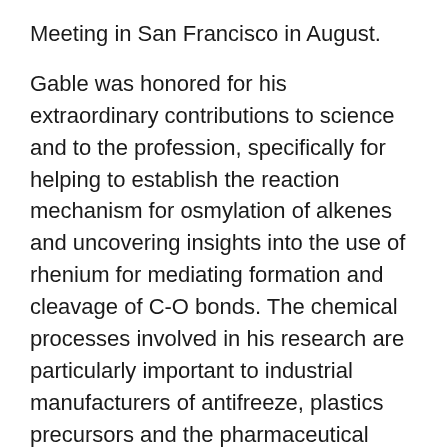Meeting in San Francisco in August.
Gable was honored for his extraordinary contributions to science and to the profession, specifically for helping to establish the reaction mechanism for osmylation of alkenes and uncovering insights into the use of rhenium for mediating formation and cleavage of C-O bonds. The chemical processes involved in his research are particularly important to industrial manufacturers of antifreeze, plastics precursors and the pharmaceutical industry.
He also joins former colleague and Professor of Chemistry James D. White who was a 2011 ACS Fellow.
“I am honored to have been named to the prestigious ACS Fellows program,” said Gable.